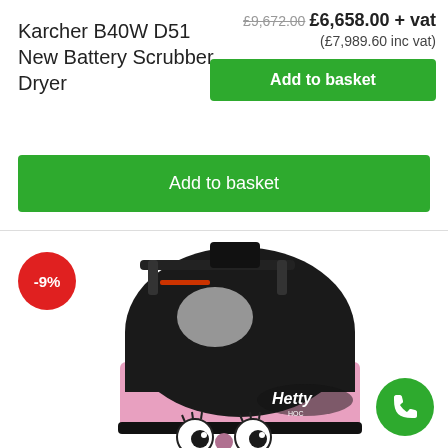Karcher B40W D51 New Battery Scrubber Dryer
£9,672.00  £6,658.00 + vat
(£7,989.60 inc vat)
Add to basket
Add to basket
[Figure (photo): Product photo of a Hetty HOC pink and black floor scrubber dryer cleaning machine with a -9% discount badge and a green phone call button]
-9%